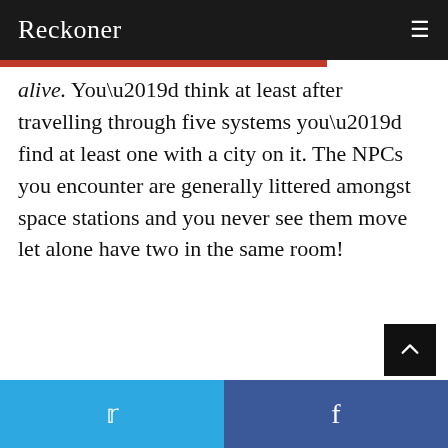Reckoner
alive. You’d think at least after travelling through five systems you’d find at least one with a city on it. The NPCs you encounter are generally littered amongst space stations and you never see them move let alone have two in the same room!
Twitter | Facebook